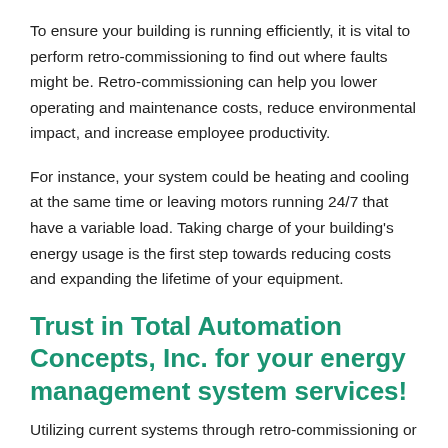To ensure your building is running efficiently, it is vital to perform retro-commissioning to find out where faults might be. Retro-commissioning can help you lower operating and maintenance costs, reduce environmental impact, and increase employee productivity.
For instance, your system could be heating and cooling at the same time or leaving motors running 24/7 that have a variable load. Taking charge of your building's energy usage is the first step towards reducing costs and expanding the lifetime of your equipment.
Trust in Total Automation Concepts, Inc. for your energy management system services!
Utilizing current systems through retro-commissioning or by